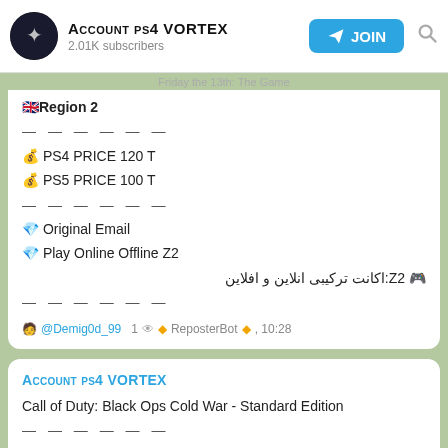Account ps4 VORTEX — 2.01K subscribers — JOIN
Friday the 13th: The Game (top partial)
🇬🇧 Region 2
— — — — — —
💰 PS4 PRICE 120 T
💰 PS5 PRICE 100 T
— — — — — —
💎 Original Email
💎 Play Online Offline Z2
🎮 Z2:اکانت ترکیبی انلاین و افلاین
— — — — — —
🧑 @Demig0d_99   1 👁 ◆ ReposterBot◆ , 10:28
Account ps4 VORTEX
Call of Duty: Black Ops Cold War - Standard Edition
— — — — — —
🇬🇧 Region 2
— — — — — —
💰 PS4 PRICE 100 T
💰 PS5 PRICE 80 T
— — — — — —
💎 Original Email